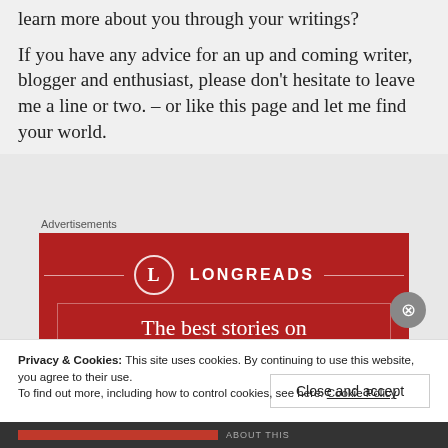learn more about you through your writings?
If you have any advice for an up and coming writer, blogger and enthusiast, please don't hesitate to leave me a line or two. – or like this page and let me find your world.
Advertisements
[Figure (illustration): Longreads advertisement banner in dark red. Features the Longreads logo (circle with L) flanked by horizontal lines, and text: 'The best stories on the web – ours, and']
Privacy & Cookies: This site uses cookies. By continuing to use this website, you agree to their use. To find out more, including how to control cookies, see here: Cookie Policy
Close and accept